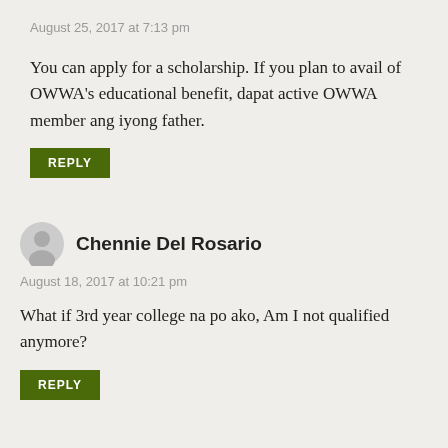August 25, 2017 at 7:13 pm
You can apply for a scholarship. If you plan to avail of OWWA’s educational benefit, dapat active OWWA member ang iyong father.
REPLY
Chennie Del Rosario
August 18, 2017 at 10:21 pm
What if 3rd year college na po ako, Am I not qualified anymore?
REPLY
Aisha Anigan